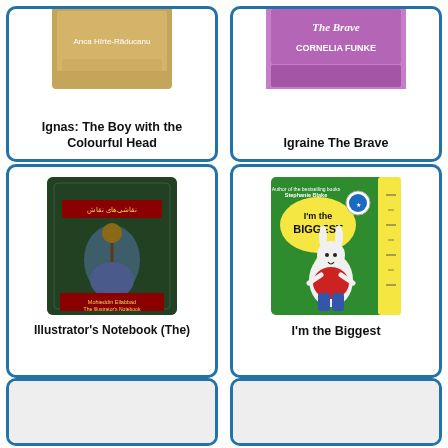[Figure (illustration): Book cover for Ignas: The Boy with the Colourful Head, partially visible at top]
Ignas: The Boy with the Colourful Head
[Figure (illustration): Book cover for Igraine The Brave by Cornelia Funke, partially visible at top]
Igraine The Brave
[Figure (illustration): Book cover for Illustrator's Notebook (The) showing a dark green cover with a knight on horseback]
Illustrator's Notebook (The)
[Figure (illustration): Book cover for I'm the Biggest showing a white bunny on green background]
I'm the Biggest
[Figure (illustration): Partially visible book covers at bottom row]